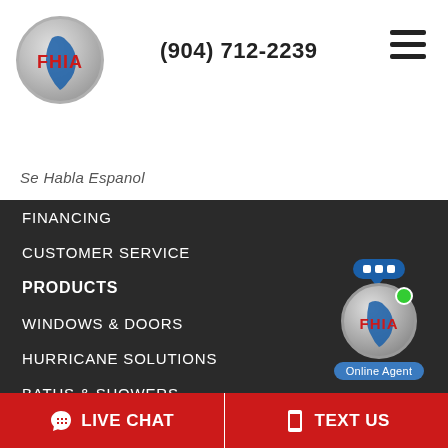[Figure (logo): FHIA logo — circular silver badge with blue Florida state outline and red FHIA text]
(904) 712-2239
[Figure (other): Hamburger menu icon (three horizontal lines)]
Se Habla Espanol
FINANCING
CUSTOMER SERVICE
PRODUCTS
WINDOWS & DOORS
HURRICANE SOLUTIONS
BATHS & SHOWERS
KITCHEN REFACING
ROOFING
TEX-COTE EXTERIOR PROTECTION
[Figure (logo): FHIA online agent widget with speech bubble, FHIA logo and green online dot, labeled Online Agent]
LIVE CHAT
TEXT US